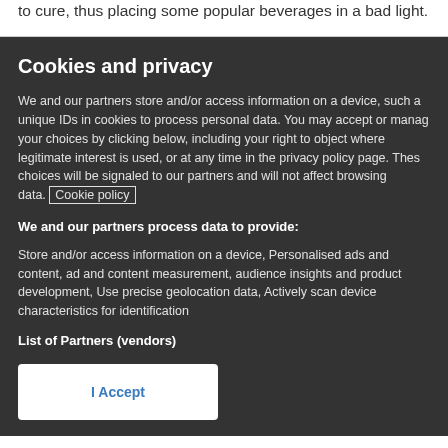to cure, thus placing some popular beverages in a bad light.
Cookies and privacy
We and our partners store and/or access information on a device, such as unique IDs in cookies to process personal data. You may accept or manage your choices by clicking below, including your right to object where legitimate interest is used, or at any time in the privacy policy page. These choices will be signaled to our partners and will not affect browsing data. Cookie policy
We and our partners process data to provide:
Store and/or access information on a device, Personalised ads and content, ad and content measurement, audience insights and product development, Use precise geolocation data, Actively scan device characteristics for identification
List of Partners (vendors)
I Accept